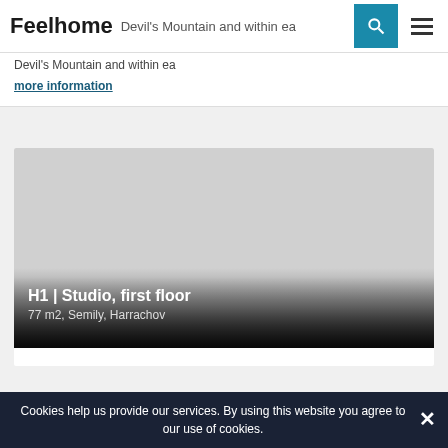Feelhome | Devil's Mountain and within ea...
Devil's Mountain and within ea...
more information
[Figure (photo): Property listing image for H1 Studio apartment, first floor, showing a gradient placeholder image with overlay text. Title: H1 | Studio, first floor. Subtitle: 77 m2, Semily, Harrachov]
H1 | Studio, first floor
77 m2, Semily, Harrachov
reserved
Cookies help us provide our services. By using this website you agree to our use of cookies.